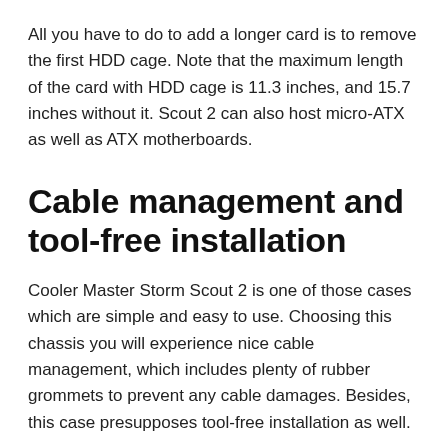All you have to do to add a longer card is to remove the first HDD cage. Note that the maximum length of the card with HDD cage is 11.3 inches, and 15.7 inches without it. Scout 2 can also host micro-ATX as well as ATX motherboards.
Cable management and tool-free installation
Cooler Master Storm Scout 2 is one of those cases which are simple and easy to use. Choosing this chassis you will experience nice cable management, which includes plenty of rubber grommets to prevent any cable damages. Besides, this case presupposes tool-free installation as well.